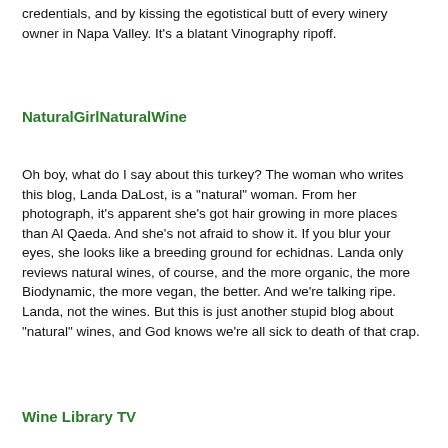credentials, and by kissing the egotistical butt of every winery owner in Napa Valley. It's a blatant Vinography ripoff.
NaturalGirlNaturalWine
Oh boy, what do I say about this turkey? The woman who writes this blog, Landa DaLost, is a "natural" woman. From her photograph, it's apparent she's got hair growing in more places than Al Qaeda. And she's not afraid to show it. If you blur your eyes, she looks like a breeding ground for echidnas. Landa only reviews natural wines, of course, and the more organic, the more Biodynamic, the more vegan, the better. And we're talking ripe. Landa, not the wines. But this is just another stupid blog about "natural" wines, and God knows we're all sick to death of that crap.
Wine Library TV